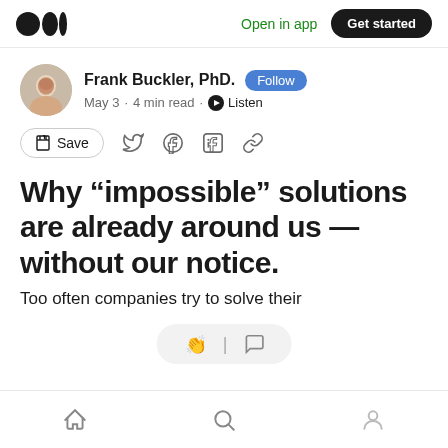Medium app header — Open in app | Get started
Frank Buckler, PhD. Follow
May 3 · 4 min read · Listen
Save (social share icons)
Why “impossible” solutions are already around us — without our notice.
Too often companies try to solve their
Bottom navigation bar: Home, Search, Profile